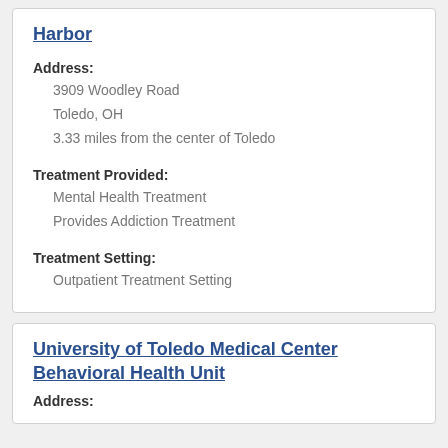Harbor
Address:
3909 Woodley Road
Toledo, OH
3.33 miles from the center of Toledo
Treatment Provided:
Mental Health Treatment
Provides Addiction Treatment
Treatment Setting:
Outpatient Treatment Setting
University of Toledo Medical Center Behavioral Health Unit
Address: